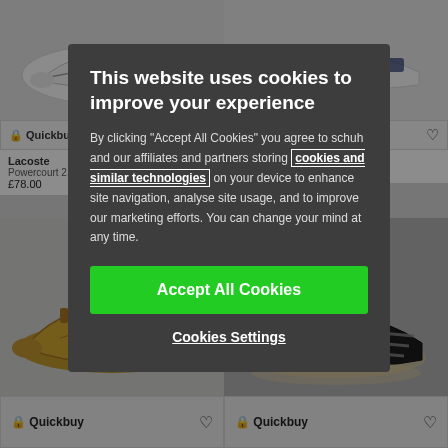[Figure (screenshot): Background showing a shoe retail website with multiple sneaker product cards in a grid layout. Top row shows white/grey sneakers (Lacoste Powercourt 2.0 £78.00 and Lacoste Graduate Pro). Bottom row shows tan Nike sneakers and black Adidas sneakers. Each card has Quickbuy and heart/wishlist buttons.]
This website uses cookies to improve your experience
By clicking "Accept All Cookies" you agree to schuh and our affiliates and partners storing cookies and similar technologies on your device to enhance site navigation, analyse site usage, and to improve our marketing efforts. You can change your mind at any time.
Accept All Cookies
Cookies Settings